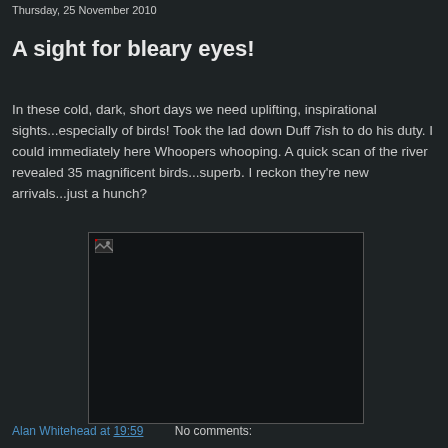Thursday, 25 November 2010
A sight for bleary eyes!
In these cold, dark, short days we need uplifting, inspirational sights...especially of birds! Took the lad down Duff 7ish to do his duty. I could immediately here Whoopers whooping. A quick scan of the river revealed 35 magnificent birds...superb. I reckon they're new arrivals...just a hunch?
[Figure (photo): A dark/black rectangular image placeholder (image failed to load) with a broken image icon in the top-left corner.]
Alan Whitehead at 19:59   No comments: